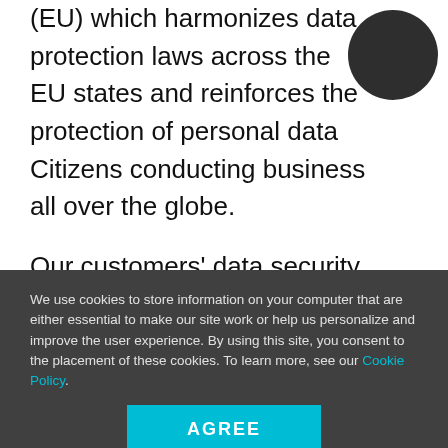(EU) which harmonizes data protection laws across the EU states and reinforces the protection of personal data Citizens conducting business all over the globe.
Our customers' data security and data privacy are of utmost importance to WhiteHat. We have taken the necessary steps, working with cross functional internal teams, vendors and external counsel, to comply with the requirements of the GDPR. It also means aligning...
We use cookies to store information on your computer that are either essential to make our site work or help us personalize and improve the user experience. By using this site, you consent to the placement of these cookies. To learn more, see our Cookie Policy.
AGREE